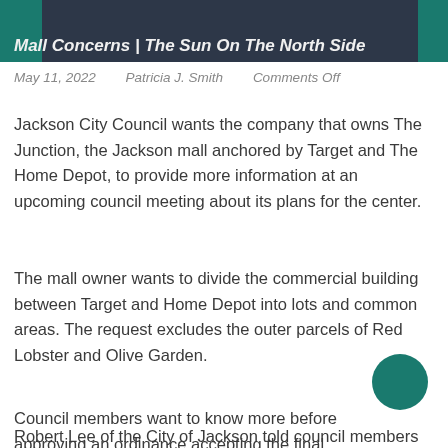Mall Concerns | The Sun On The North Side
May 11, 2022    Patricia J. Smith    Comments Off
Jackson City Council wants the company that owns The Junction, the Jackson mall anchored by Target and The Home Depot, to provide more information at an upcoming council meeting about its plans for the center.
The mall owner wants to divide the commercial building between Target and Home Depot into lots and common areas. The request excludes the outer parcels of Red Lobster and Olive Garden.
Council members want to know more before approving an ordinance accepting the final dish of The Junction, located at 6351 I-55 North, and allowing the mayor to sign it.
Robert Lee of the City of Jackson told council members that